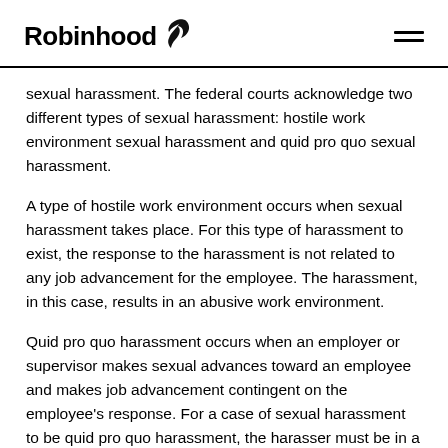Robinhood
sexual harassment. The federal courts acknowledge two different types of sexual harassment: hostile work environment sexual harassment and quid pro quo sexual harassment.
A type of hostile work environment occurs when sexual harassment takes place. For this type of harassment to exist, the response to the harassment is not related to any job advancement for the employee. The harassment, in this case, results in an abusive work environment.
Quid pro quo harassment occurs when an employer or supervisor makes sexual advances toward an employee and makes job advancement contingent on the employee's response. For a case of sexual harassment to be quid pro quo harassment, the harasser must be in a